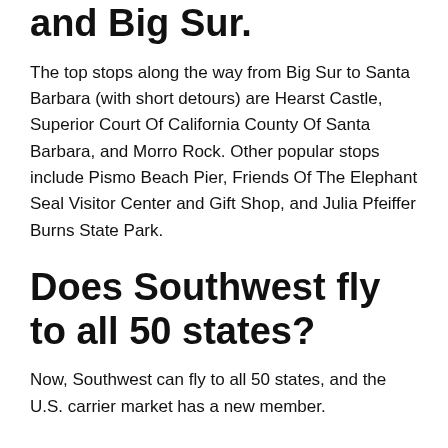and Big Sur.
The top stops along the way from Big Sur to Santa Barbara (with short detours) are Hearst Castle, Superior Court Of California County Of Santa Barbara, and Morro Rock. Other popular stops include Pismo Beach Pier, Friends Of The Elephant Seal Visitor Center and Gift Shop, and Julia Pfeiffer Burns State Park.
Does Southwest fly to all 50 states?
Now, Southwest can fly to all 50 states, and the U.S. carrier market has a new member.
How busy is Santa